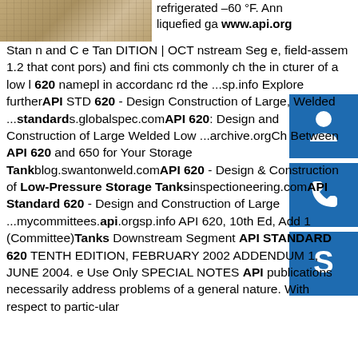[Figure (photo): Photo of a metal structure or tank component, brownish/weathered surface]
refrigerated –60 °F. Ann liquefied ga www.api.org
Stan n and C e Tan DITION | OCT nstream Seg e, field-assem 1.2 that cont pors) and fini cts commonly ch the in cturer of a low l 620 namepl in accordanc rd the ...sp.info Explore furtherAPI STD 620 - Design Construction of Large, Welded ...standards.globalspec.comAPI 620: Design and Construction of Large Welded Low ...archive.orgCh Between API 620 and 650 for Your Storage Tankblog.swantonweld.comAPI 620 - Design & Construction of Low-Pressure Storage Tanksinspectioneering.comAPI Standard 620 - Design and Construction of Large ...mycommittees.api.orgsp.info API 620, 10th Ed, Add 1 (Committee)Tanks Downstream Segment API STANDARD 620 TENTH EDITION, FEBRUARY 2002 ADDENDUM 1, JUNE 2004. e Use Only SPECIAL NOTES API publications necessarily address problems of a general nature. With respect to partic-ular